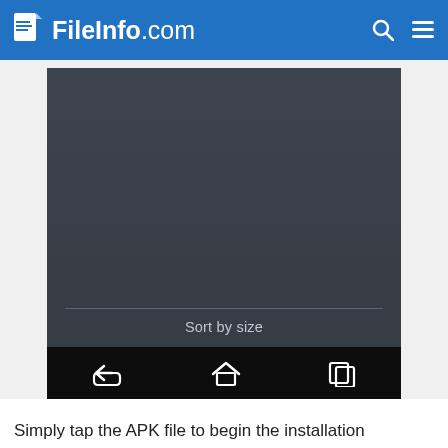FileInfo.com
[Figure (screenshot): Android smartphone screenshot showing a dark grey file manager screen with 'Sort by size' label at the bottom and a black navigation bar with back, home, and recents buttons.]
Simply tap the APK file to begin the installation